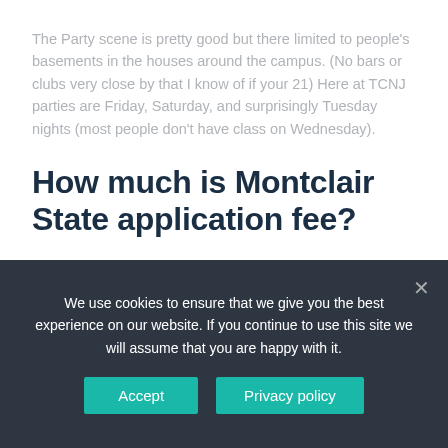The Party scene is pretty good but there limited to people's basements in the houses around the campus. (No bars or clubs very close by that I know of if your 21) Here at TCNJ parties are Friday, Saturday, and surprisingly Tuesday nights (most people don't have class on Wednesday).
How much is Montclair State application fee?
After you submit the application, you will see instructions for paying the $65 non-refundable application fee (or submitting a fee waiver request) on the status page of your application portal.
We use cookies to ensure that we give you the best experience on our website. If you continue to use this site we will assume that you are happy with it.